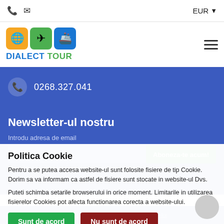EUR
[Figure (logo): Dialect Tour logo with three colored icon boxes (globe, airplane, ship) and text DIALECT TOUR]
0268.327.041
Newsletter-ul nostru
Introdu adresa de email
Politica Cookie
Pentru a se putea accesa website-ul sunt folosite fisiere de tip Cookie. Dorim sa va informam ca astfel de fisiere sunt stocate in website-ul Dvs.
Puteti schimba setarile browserului in orice moment. Limitarile in utilizarea fisierelor Cookies pot afecta functionarea corecta a website-ului.
Sunt de acord
Nu sunt de acord